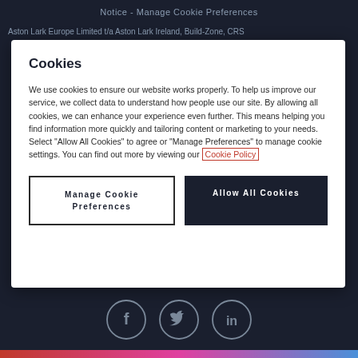Notice - Manage Cookie Preferences
Aston Lark Europe Limited t/a Aston Lark Ireland, Build-Zone, CRS
Cookies
We use cookies to ensure our website works properly. To help us improve our service, we collect data to understand how people use our site. By allowing all cookies, we can enhance your experience even further. This means helping you find information more quickly and tailoring content or marketing to your needs. Select "Allow All Cookies" to agree or "Manage Preferences" to manage cookie settings. You can find out more by viewing our Cookie Policy
Manage Cookie Preferences
Allow All Cookies
[Figure (illustration): Social media icons: Facebook (f), Twitter (bird), LinkedIn (in) displayed as circular outlined icons on dark background]